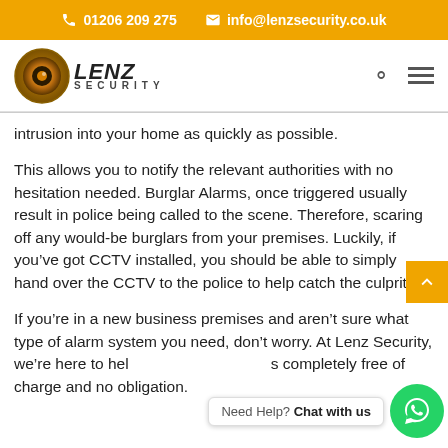📞 01206 209 275   ✉ info@lenzsecurity.co.uk
[Figure (logo): Lenz Security logo with circular camera lens icon and bold italic LENZ text with SECURITY subtitle]
intrusion into your home as quickly as possible.
This allows you to notify the relevant authorities with no hesitation needed. Burglar Alarms, once triggered usually result in police being called to the scene. Therefore, scaring off any would-be burglars from your premises. Luckily, if you've got CCTV installed, you should be able to simply hand over the CCTV to the police to help catch the culprit.
If you're in a new business premises and aren't sure what type of alarm system you need, don't worry. At Lenz Security, we're here to hel s completely free of charge and no obligation.